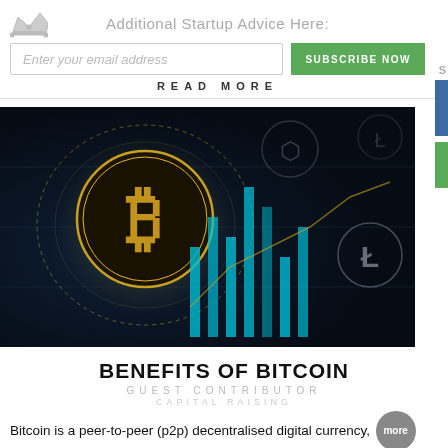Additional Startup Advice Here:
Enter your email address
SUBSCRIBE NOW
READ MORE
[Figure (illustration): Dark background cryptocurrency illustration with Bitcoin (BTC) gold coin logo prominently displayed on left, other crypto currency icons in background, teal/blue candlestick chart bars rising in center, and Litecoin (L) symbol on right. Dark teal and black color scheme.]
BENEFITS OF BITCOIN
GUEST CONTRIBUTOR
CAPITAL RAISING
Bitcoin is a peer-to-peer (p2p) decentralised digital currency, more